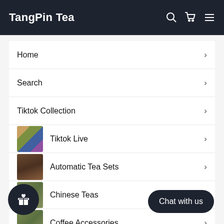TangPin Tea
Home
Search
Tiktok Collection
Tiktok Live
Automatic Tea Sets
Chinese Teas
Coffee Accessories
Glass & Ceramic Mugs